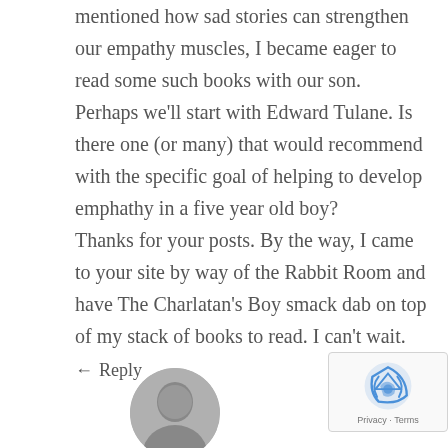mentioned how sad stories can strengthen our empathy muscles, I became eager to read some such books with our son. Perhaps we'll start with Edward Tulane. Is there one (or many) that would recommend with the specific goal of helping to develop emphathy in a five year old boy?
Thanks for your posts. By the way, I came to your site by way of the Rabbit Room and have The Charlatan's Boy smack dab on top of my stack of books to read. I can't wait.
← Reply
[Figure (photo): Circular avatar photo of a person (grayscale), partially visible at the bottom of the page]